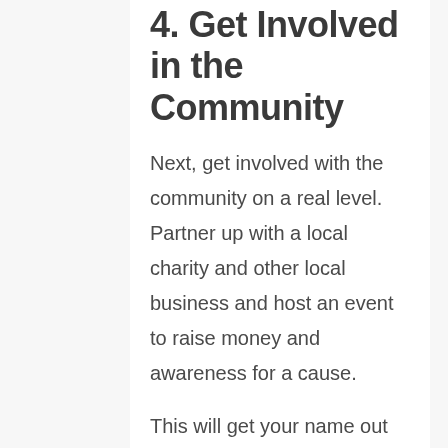4. Get Involved in the Community
Next, get involved with the community on a real level. Partner up with a local charity and other local business and host an event to raise money and awareness for a cause.
This will get your name out there and help you form some other strong business relationships.